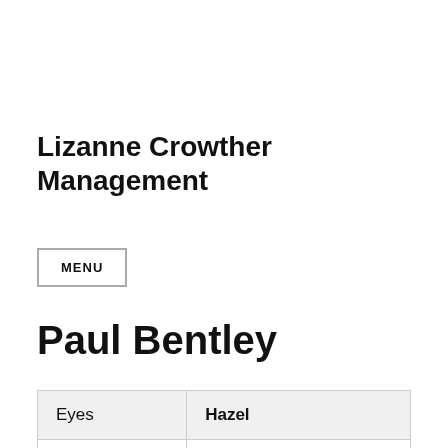Lizanne Crowther Management
MENU
Paul Bentley
| Eyes | Hazel |
| Hair | Grey |